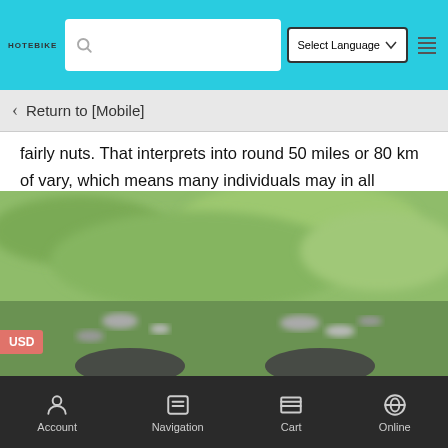HOTEBIKE | Select Language | Search
Return to [Mobile]
fairly nuts. That interprets into round 50 miles or 80 km of vary, which means many individuals may in all probability get away with charging this dangerous boy simply as soon as every week or much less, relying on their commute.
In terms of commutes, that is clearly an city e-bike. It's received e lane written throughout it. The highest pace can also be fairly sluggish, at simply 15 mph (25 km/h), which means it's spec'd extra like a European or Asian e-bike.
[Figure (photo): Blurred outdoor photo showing grass and stones/gravel in the foreground, likely showing wheels of a bicycle at the bottom of the frame]
Account  Navigation  Cart  Online